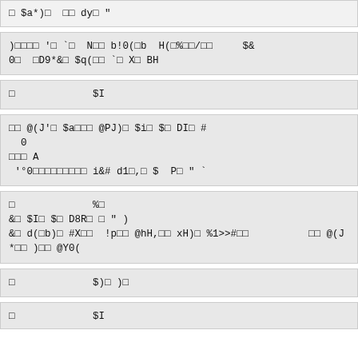□ $a*)□  □□ dy□ "
)□□□□ '□ `□  N□□ b!0(□b  H(□%□□/□□     $&
0□  □D9*&□ $q(□□ `□ X□ BH
□             $I
□□ @(J'□ $a□□□ @PJ)□ $i□ $□ DI□ #
  0
□□□ A
 '°0□□□□□□□□□ i&# d1□,□ $  P□ " `
□             %□
&□ $I□ $□ D8R□ □ " )
&□ d(□b)□ #X□□  !p□□ @hH,□□ xH)□ %1>#□□          □□ @(J*□□ )□□ @Y0(
□             $)□ )□
□             $I